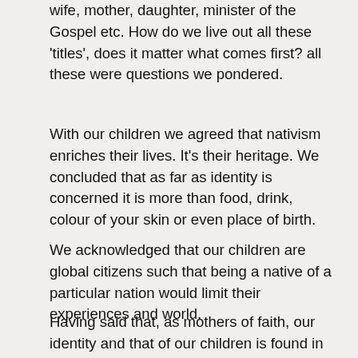wife, mother, daughter, minister of the Gospel etc. How do we live out all these 'titles', does it matter what comes first? all these were questions we pondered.
With our children we agreed that nativism enriches their lives. It's their heritage. We concluded that as far as identity is concerned it is more than food, drink, colour of your skin or even place of birth.
We acknowledged that our children are global citizens such that being a native of a particular nation would limit their experiences and world.
Having said that, as mothers of faith, our identity and that of our children is found in God. We are first and foremost children of God. He created us and knew us of before the foundation of the world. That is who we are.